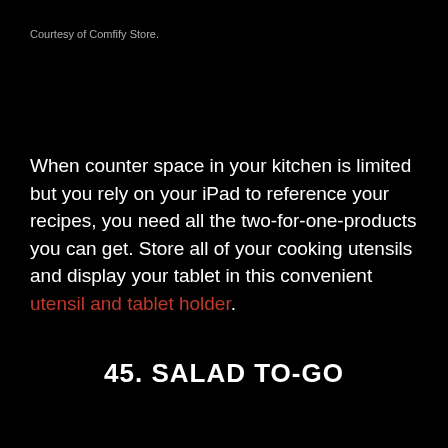Courtesy of Comfify Store.
When counter space in your kitchen is limited but you rely on your iPad to reference your recipes, you need all the two-for-one-products you can get. Store all of your cooking utensils and display your tablet in this convenient utensil and tablet holder.
45. SALAD TO-GO